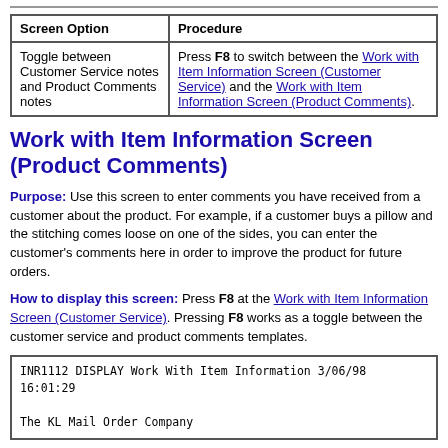| Screen Option | Procedure |
| --- | --- |
| Toggle between Customer Service notes and Product Comments notes | Press F8 to switch between the Work with Item Information Screen (Customer Service) and the Work with Item Information Screen (Product Comments). |
Work with Item Information Screen (Product Comments)
Purpose: Use this screen to enter comments you have received from a customer about the product. For example, if a customer buys a pillow and the stitching comes loose on one of the sides, you can enter the customer's comments here in order to improve the product for future orders.
How to display this screen: Press F8 at the Work with Item Information Screen (Customer Service). Pressing F8 works as a toggle between the customer service and product comments templates.
INR1112 DISPLAY Work With Item Information 3/06/98 16:01:29

The KL Mail Order Company